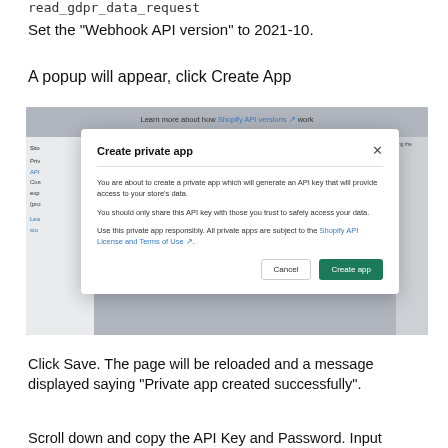read_gdpr_data_request
Set the "Webhook API version" to 2021-10.
A popup will appear, click Create App
[Figure (screenshot): Screenshot of a Shopify admin interface showing a 'Create private app' modal dialog. The modal contains a warning about API key access, a reminder to only share with trusted people, and a note about Shopify API License and Terms of Use. Two buttons: Cancel and Create app (green).]
Click Save. The page will be reloaded and a message displayed saying "Private app created successfully".
Scroll down and copy the API Key and Password. Input